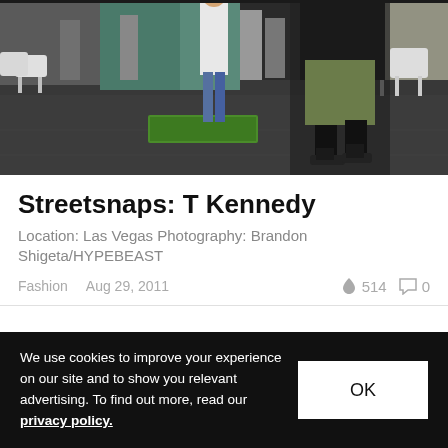[Figure (photo): Indoor event/convention space with people standing and walking on a dark concrete floor. Some white modern chairs and tables visible. A small green artificial turf patch on the floor. People wearing casual streetwear clothing.]
Streetsnaps: T Kennedy
Location: Las Vegas Photography: Brandon Shigeta/HYPEBEAST
Fashion   Aug 29, 2011   🔥 514   💬 0
We use cookies to improve your experience on our site and to show you relevant advertising. To find out more, read our privacy policy.